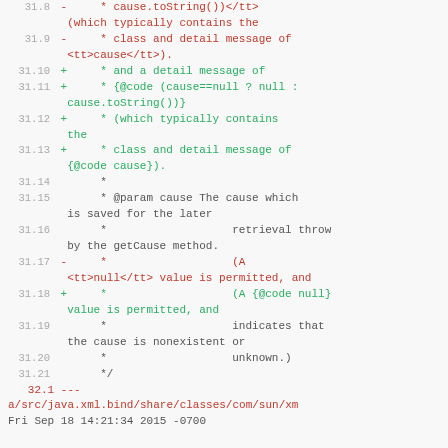Code diff showing changes to Java source file lines 31.8 through 32.1, including modifications to Javadoc comments about cause parameter handling.